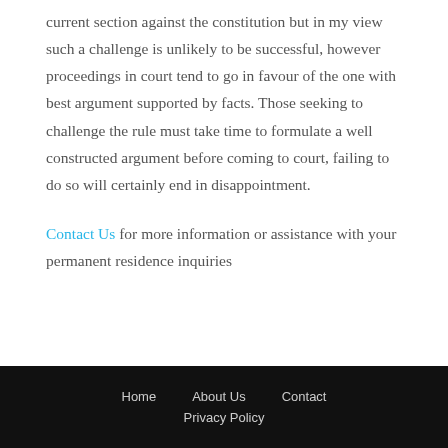current section against the constitution but in my view such a challenge is unlikely to be successful, however proceedings in court tend to go in favour of the one with best argument supported by facts. Those seeking to challenge the rule must take time to formulate a well constructed argument before coming to court, failing to do so will certainly end in disappointment.
Contact Us for more information or assistance with your permanent residence inquiries
Home   About Us   Contact   Privacy Policy